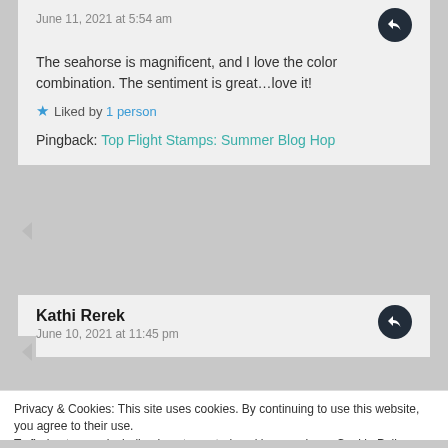June 11, 2021 at 5:54 am
The seahorse is magnificent, and I love the color combination. The sentiment is great…love it!
Liked by 1 person
Pingback: Top Flight Stamps: Summer Blog Hop
Kathi Rerek
June 10, 2021 at 11:45 pm
Privacy & Cookies: This site uses cookies. By continuing to use this website, you agree to their use.
To find out more, including how to control cookies, see here: Cookie Policy
Close and accept